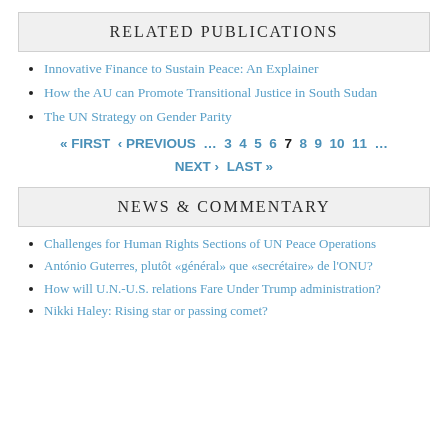RELATED PUBLICATIONS
Innovative Finance to Sustain Peace: An Explainer
How the AU can Promote Transitional Justice in South Sudan
The UN Strategy on Gender Parity
« FIRST  ‹ PREVIOUS  …  3  4  5  6  7  8  9  10  11  …  NEXT ›  LAST »
NEWS & COMMENTARY
Challenges for Human Rights Sections of UN Peace Operations
António Guterres, plutôt «général» que «secrétaire» de l'ONU?
How will U.N.-U.S. relations Fare Under Trump administration?
Nikki Haley: Rising star or passing comet?